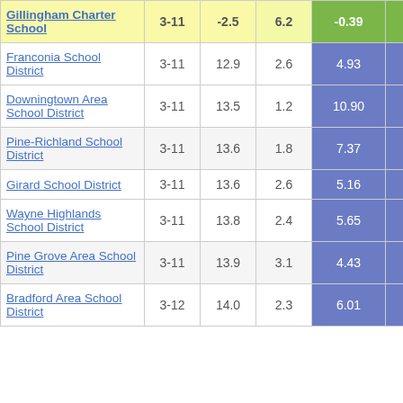| School/District | Grades | Col3 | Col4 | Col5 | Col6 |
| --- | --- | --- | --- | --- | --- |
| Gillingham Charter School | 3-11 | -2.5 | 6.2 | -0.39 |  |
| Franconia School District | 3-11 | 12.9 | 2.6 | 4.93 |  |
| Downingtown Area School District | 3-11 | 13.5 | 1.2 | 10.90 |  |
| Pine-Richland School District | 3-11 | 13.6 | 1.8 | 7.37 |  |
| Girard School District | 3-11 | 13.6 | 2.6 | 5.16 |  |
| Wayne Highlands School District | 3-11 | 13.8 | 2.4 | 5.65 |  |
| Pine Grove Area School District | 3-11 | 13.9 | 3.1 | 4.43 |  |
| Bradford Area School District | 3-12 | 14.0 | 2.3 | 6.01 |  |